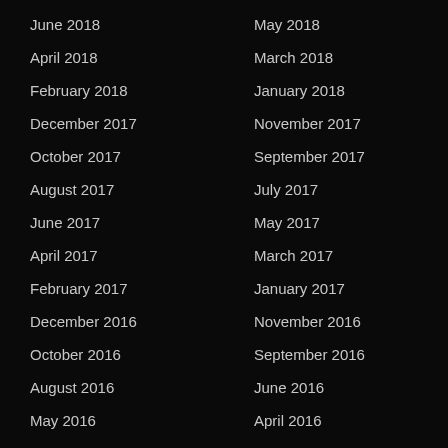June 2018
May 2018
April 2018
March 2018
February 2018
January 2018
December 2017
November 2017
October 2017
September 2017
August 2017
July 2017
June 2017
May 2017
April 2017
March 2017
February 2017
January 2017
December 2016
November 2016
October 2016
September 2016
August 2016
June 2016
May 2016
April 2016
March 2016
February 2016
January 2016
December 2015